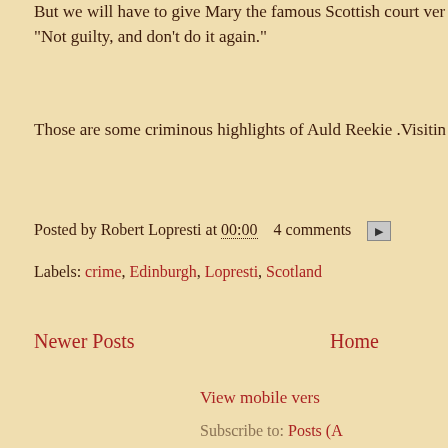But we will have to give Mary the famous Scottish court ver... "Not guilty, and don't do it again."
Those are some criminous highlights of Auld Reekie .Visitin...
Posted by Robert Lopresti at 00:00   4 comments
Labels: crime, Edinburgh, Lopresti, Scotland
Newer Posts
Home
View mobile vers...
Subscribe to: Posts (A...